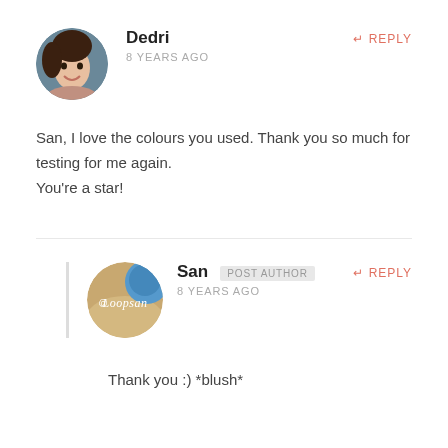[Figure (photo): Circular avatar photo of a smiling woman with dark hair]
Dedri
8 YEARS AGO
REPLY
San, I love the colours you used. Thank you so much for testing for me again.
You're a star!
[Figure (logo): Circular avatar with sandy/blue background and script text reading Loopsan]
San  POST AUTHOR
8 YEARS AGO
REPLY
Thank you :) *blush*